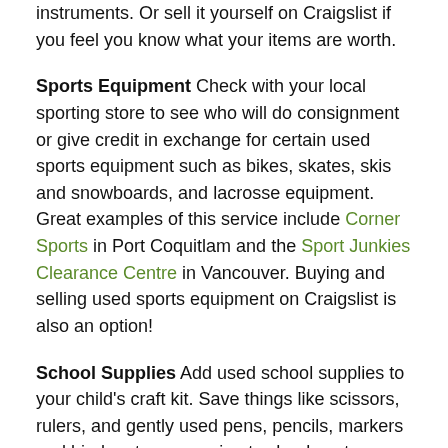instruments. Or sell it yourself on Craigslist if you feel you know what your items are worth.
Sports Equipment Check with your local sporting store to see who will do consignment or give credit in exchange for certain used sports equipment such as bikes, skates, skis and snowboards, and lacrosse equipment. Great examples of this service include Corner Sports in Port Coquitlam and the Sport Junkies Clearance Centre in Vancouver. Buying and selling used sports equipment on Craigslist is also an option!
School Supplies Add used school supplies to your child's craft kit. Save things like scissors, rulers, and gently used pens, pencils, markers and binders to use again at school next year.
Be sure to involve your children in your back to school recycling efforts. You'll teach them values about respecting the environment and giving back to your